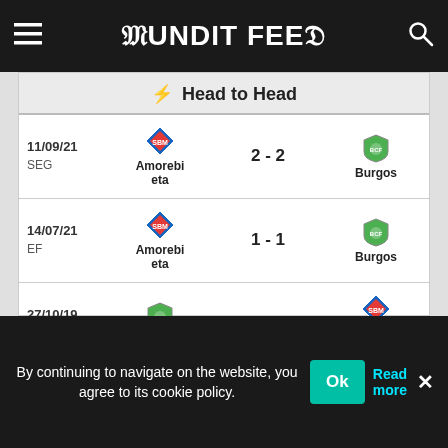Pundit Feed
⚡ Head to Head
| Date/Comp | Home | Score | Away |
| --- | --- | --- | --- |
| 11/09/21 SEG | Amorebieta | 2 - 2 | Burgos |
| 14/07/21 EF | Amorebieta | 1 - 1 | Burgos |
| 27/10/19 SSBG2 | Burgos | 1 - 2 | Amorebieta |
| 06/05/18 SSBG2 | Burgos | 0 - 0 | Amorebieta |
| 09/12/17 SSBG2 | Amorebieta | 1 - 0 | Burgos |
By continuing to navigate on the website, you agree to its cookie policy.